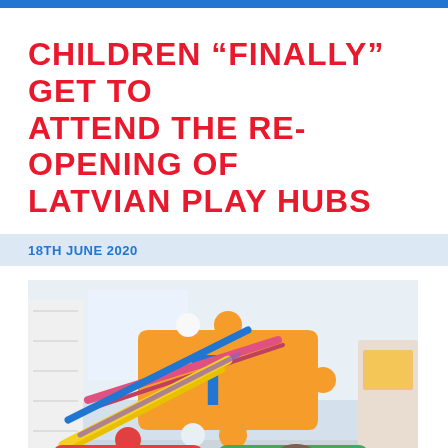CHILDREN “FINALLY” GET TO ATTEND THE RE-OPENING OF LATVIAN PLAY HUBS
18TH JUNE 2020
[Figure (photo): A child peeking through colorful foam puzzle letter mats (letters T and S visible) in an indoor play area with shelves in the background]